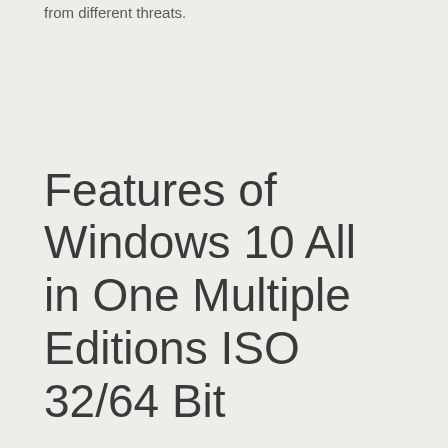from different threats.
Features of Windows 10 All in One Multiple Editions ISO 32/64 Bit